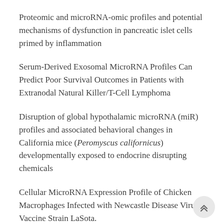Proteomic and microRNA-omic profiles and potential mechanisms of dysfunction in pancreatic islet cells primed by inflammation
Serum-Derived Exosomal MicroRNA Profiles Can Predict Poor Survival Outcomes in Patients with Extranodal Natural Killer/T-Cell Lymphoma
Disruption of global hypothalamic microRNA (miR) profiles and associated behavioral changes in California mice (Peromyscus californicus) developmentally exposed to endocrine disrupting chemicals
Cellular MicroRNA Expression Profile of Chicken Macrophages Infected with Newcastle Disease Virus Vaccine Strain LaSota.